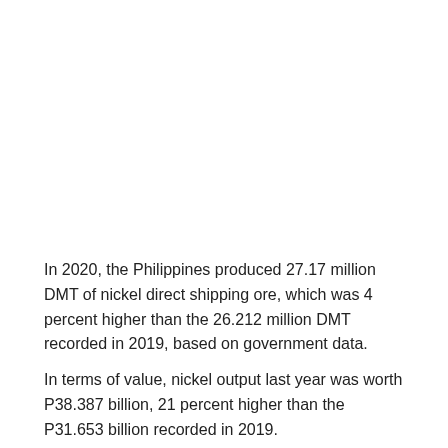In 2020, the Philippines produced 27.17 million DMT of nickel direct shipping ore, which was 4 percent higher than the 26.212 million DMT recorded in 2019, based on government data.
In terms of value, nickel output last year was worth P38.387 billion, 21 percent higher than the P31.653 billion recorded in 2019.